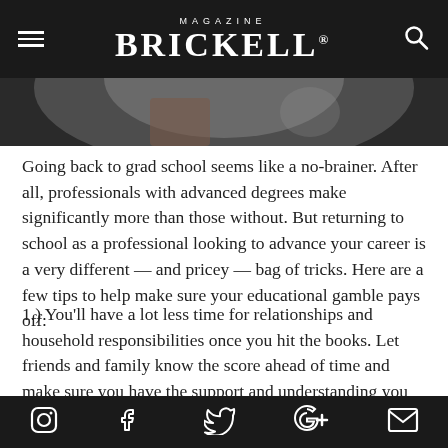MAGAZINE BRICKELL®
[Figure (photo): Blurred/cropped photo of a person, partial view showing shoulders and upper body against dark background]
Going back to grad school seems like a no-brainer. After all, professionals with advanced degrees make significantly more than those without. But returning to school as a professional looking to advance your career is a very different — and pricey — bag of tricks. Here are a few tips to help make sure your educational gamble pays off:
1.) You'll have a lot less time for relationships and household responsibilities once you hit the books. Let friends and family know the score ahead of time and make sure you have the support and understanding you need to thrive in and out of the classroom.
2.) Find out if your company is willing to pay for school or give
Instagram | Facebook | Twitter | Google+ | Email